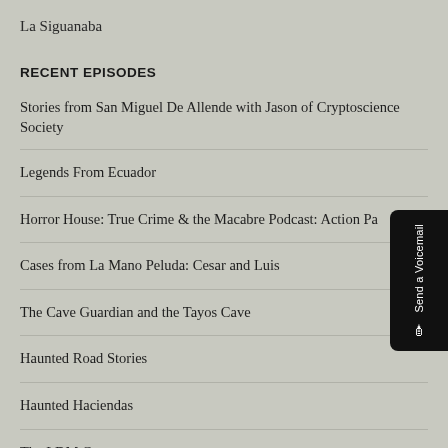La Siguanaba
RECENT EPISODES
Stories from San Miguel De Allende with Jason of Cryptoscience Society
Legends From Ecuador
Horror House: True Crime & the Macabre Podcast: Action Pa
Cases from La Mano Peluda: Cesar and Luis
The Cave Guardian and the Tayos Cave
Haunted Road Stories
Haunted Haciendas
The LDM Cu...